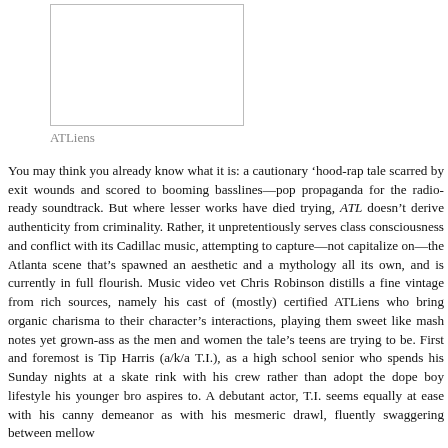[Figure (other): Album or movie cover image placeholder (white rectangle with border)]
ATLiens
You may think you already know what it is: a cautionary ‘hood-rap tale scarred by exit wounds and scored to booming basslines—pop propaganda for the radio-ready soundtrack. But where lesser works have died trying, ATL doesn’t derive authenticity from criminality. Rather, it unpretentiously serves class consciousness and conflict with its Cadillac music, attempting to capture—not capitalize on—the Atlanta scene that’s spawned an aesthetic and a mythology all its own, and is currently in full flourish. Music video vet Chris Robinson distills a fine vintage from rich sources, namely his cast of (mostly) certified ATLiens who bring organic charisma to their character’s interactions, playing them sweet like mash notes yet grown-ass as the men and women the tale’s teens are trying to be. First and foremost is Tip Harris (a/k/a T.I.), as a high school senior who spends his Sunday nights at a skate rink with his crew rather than adopt the dope boy lifestyle his younger bro aspires to. A debutant actor, T.I. seems equally at ease with his canny demeanor as with his mesmeric drawl, fluently swaggering between mellow